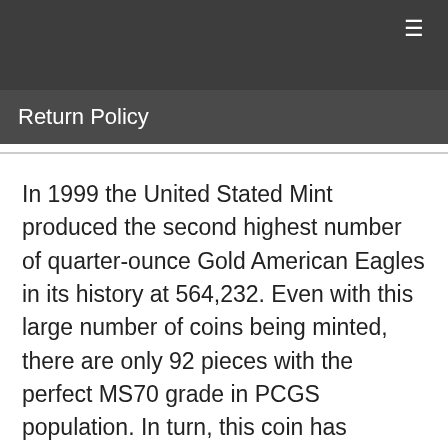Return Policy
In 1999 the United Stated Mint produced the second highest number of quarter-ounce Gold American Eagles in its history at 564,232. Even with this large number of coins being minted, there are only 92 pieces with the perfect MS70 grade in PCGS population. In turn, this coin has become highly desirable by collectors